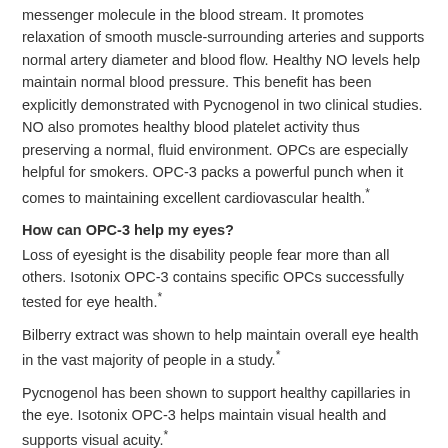messenger molecule in the blood stream. It promotes relaxation of smooth muscle-surrounding arteries and supports normal artery diameter and blood flow. Healthy NO levels help maintain normal blood pressure. This benefit has been explicitly demonstrated with Pycnogenol in two clinical studies. NO also promotes healthy blood platelet activity thus preserving a normal, fluid environment. OPCs are especially helpful for smokers. OPC-3 packs a powerful punch when it comes to maintaining excellent cardiovascular health.*
How can OPC-3 help my eyes?
Loss of eyesight is the disability people fear more than all others. Isotonix OPC-3 contains specific OPCs successfully tested for eye health.*
Bilberry extract was shown to help maintain overall eye health in the vast majority of people in a study.*
Pycnogenol has been shown to support healthy capillaries in the eye. Isotonix OPC-3 helps maintain visual health and supports visual acuity.*
Does OPC-3 have benefits specifically for women?